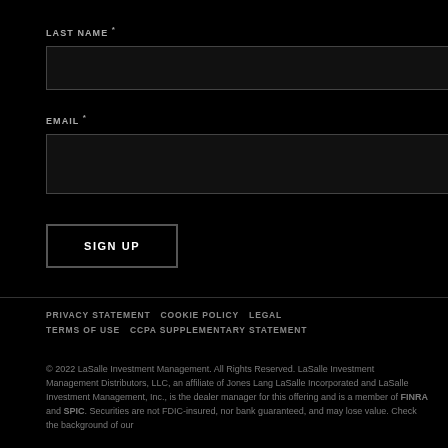LAST NAME *
EMAIL *
SIGN UP
PRIVACY STATEMENT    COOKIE POLICY    LEGAL TERMS OF USE    CCPA SUPPLEMENTARY STATEMENT
© 2022 LaSalle Investment Management. All Rights Reserved. LaSalle Investment Management Distributors, LLC, an affiliate of Jones Lang LaSalle Incorporated and LaSalle Investment Management, Inc., is the dealer manager for this offering and is a member of FINRA and SPIC. Securities are not FDIC-insured, nor bank guaranteed, and may lose value. Check the background of our